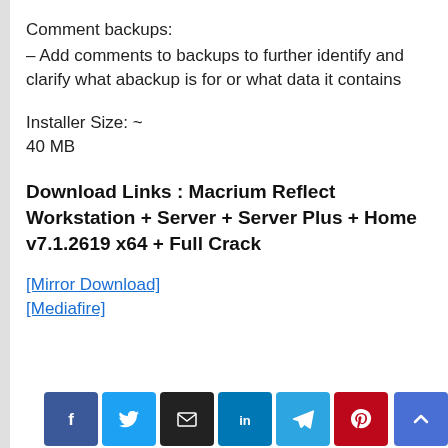Comment backups:
– Add comments to backups to further identify and clarify what abackup is for or what data it contains
Installer Size: ~
40 MB
Download Links : Macrium Reflect Workstation + Server + Server Plus + Home v7.1.2619 x64 + Full Crack
[Mirror Download]
[Mediafire]
[Figure (other): Social share buttons: Facebook, Twitter, Email, LinkedIn, Telegram, Pinterest, and a scroll-to-top button]